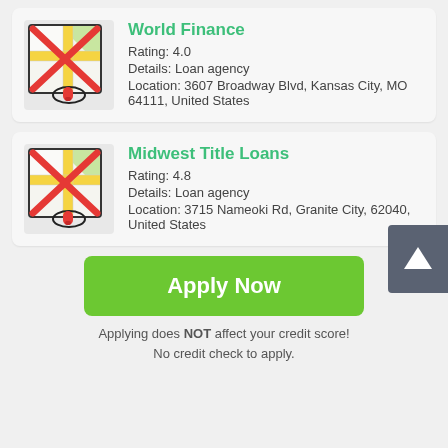[Figure (other): Business listing card for World Finance with crossed-out map icon, name, rating, details, and location]
World Finance
Rating: 4.0
Details: Loan agency
Location: 3607 Broadway Blvd, Kansas City, MO 64111, United States
[Figure (other): Business listing card for Midwest Title Loans with crossed-out map icon, name, rating, details, and location]
Midwest Title Loans
Rating: 4.8
Details: Loan agency
Location: 3715 Nameoki Rd, Granite City, 62040, United States
Apply Now
Applying does NOT affect your credit score! No credit check to apply.